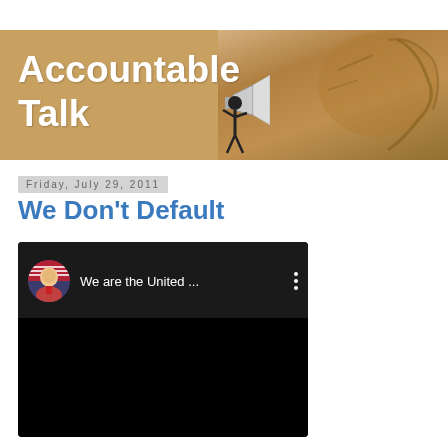[Figure (illustration): Accountable Talk blog banner with bold white text on tan/brown background, a small figure holding a megaphone, and a stone face carving on the right side]
Friday, July 29, 2011
We Don't Default
[Figure (screenshot): YouTube video embed with dark background showing a man's avatar photo and text 'We are the United ...' with a three-dot menu icon]